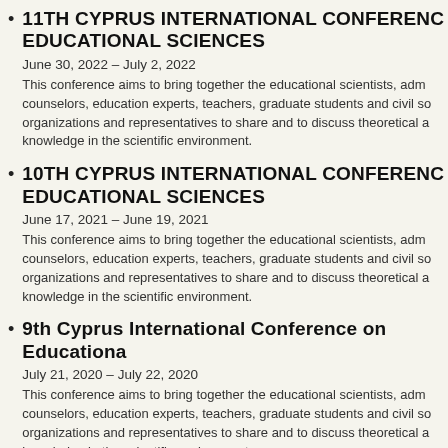11TH CYPRUS INTERNATIONAL CONFERENCE ON EDUCATIONAL SCIENCES
June 30, 2022 – July 2, 2022
This conference aims to bring together the educational scientists, administrators, counselors, education experts, teachers, graduate students and civil society organizations and representatives to share and to discuss theoretical and applied knowledge in the scientific environment.
10TH CYPRUS INTERNATIONAL CONFERENCE ON EDUCATIONAL SCIENCES
June 17, 2021 – June 19, 2021
This conference aims to bring together the educational scientists, administrators, counselors, education experts, teachers, graduate students and civil society organizations and representatives to share and to discuss theoretical and applied knowledge in the scientific environment.
9th Cyprus International Conference on Educational Sciences
July 21, 2020 – July 22, 2020
This conference aims to bring together the educational scientists, administrators, counselors, education experts, teachers, graduate students and civil society organizations and representatives to share and to discuss theoretical and applied knowledge in the scientific environment.
8TH CYPRUS INTERNATIONAL CONFERENCE ON EDUCATIONAL RESEARCH
June 13, 2019 – June 15, 2019
This conference aims to bring together the educational scientists, administrators...